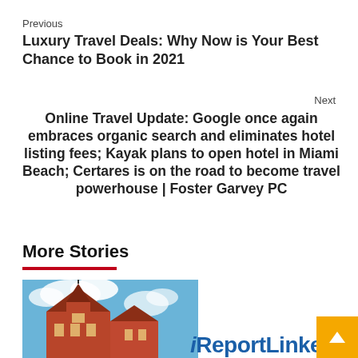Previous
Luxury Travel Deals: Why Now is Your Best Chance to Book in 2021
Next
Online Travel Update: Google once again embraces organic search and eliminates hotel listing fees; Kayak plans to open hotel in Miami Beach; Certares is on the road to become travel powerhouse | Foster Garvey PC
More Stories
[Figure (photo): Photo of a red historic building with a tower/spire against a blue cloudy sky]
[Figure (logo): iReportLinker logo with orange scroll-to-top button]